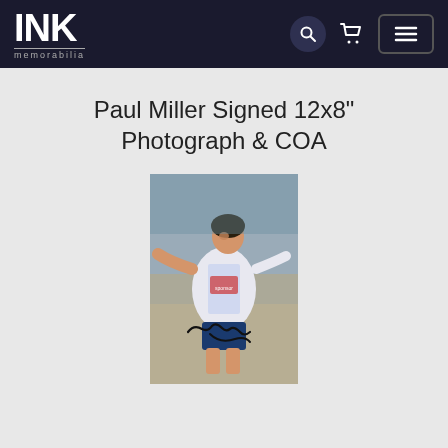INK memorabilia
Paul Miller Signed 12x8" Photograph & COA
[Figure (photo): Signed 12x8 inch photograph of Paul Miller, a footballer in action wearing a white and light blue kit with an autograph on the photo]